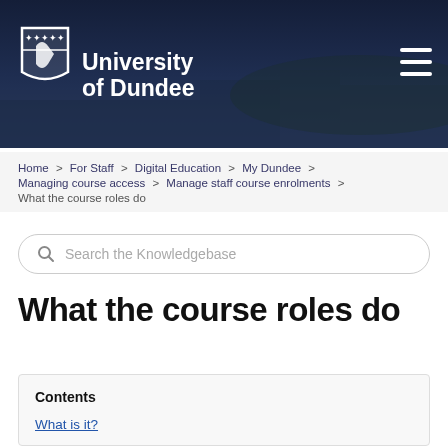[Figure (screenshot): University of Dundee website header banner with city skyline photo and dark blue overlay, showing the University of Dundee shield logo and name in white, with a hamburger menu icon on the right]
Home > For Staff > Digital Education > My Dundee > Managing course access > Manage staff course enrolments > What the course roles do
Search the Knowledgebase
What the course roles do
Contents
What is it?